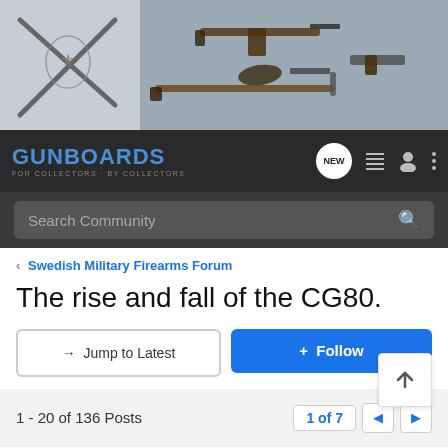[Figure (screenshot): Gunboards forum website banner with crossed rifles on left and disassembled firearms on metallic diamond-plate background on right]
GUNBOARDS - FOR COLLECTORS · BY COLLECTORS
Search Community
< Swedish Military Firearms Forum
The rise and fall of the CG80.
→ Jump to Latest
+ Follow
1 - 20 of 136 Posts
1 of 7
arilar · Registered 🇸🇪